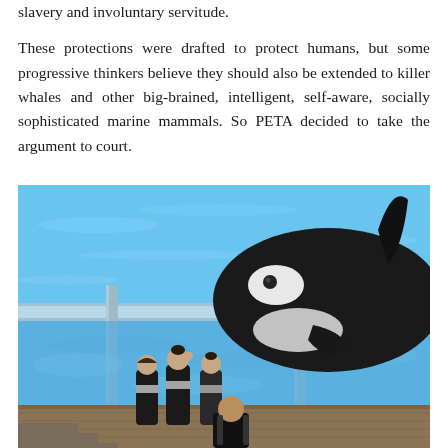slavery and involuntary servitude. These protections were drafted to protect humans, but some progressive thinkers believe they should also be extended to killer whales and other big-brained, intelligent, self-aware, socially sophisticated marine mammals. So PETA decided to take the argument to court.
[Figure (photo): Photo of an orca whale pressed against a transparent glass tank wall at what appears to be SeaWorld, with several people in black and white wetsuits standing in front of the tank viewing the whale.]